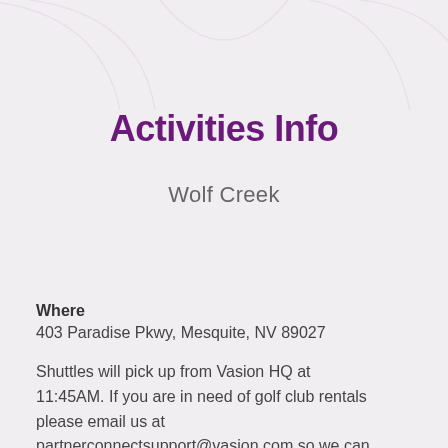[Figure (illustration): Decorative arc/wave shapes at the top of the page in light pink/lavender color]
Activities Info
Wolf Creek
Where
403 Paradise Pkwy, Mesquite, NV 89027
Shuttles will pick up from Vasion HQ at 11:45AM. If you are in need of golf club rentals please email us at partnerconnectsupport@vasion.com so we can